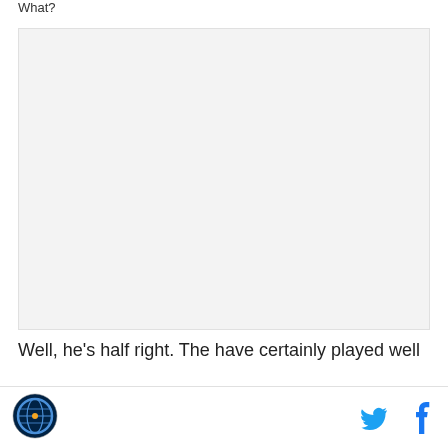What?
[Figure (photo): Embedded image placeholder, light gray background]
Well, he's half right. The have certainly played well
Site logo and social sharing icons (Twitter, Facebook)